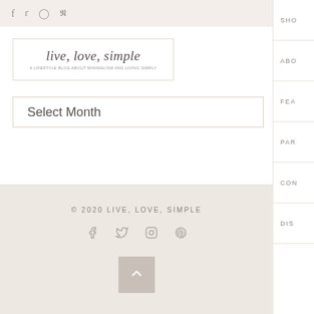Social icons: f, twitter, instagram, pinterest | SHO | ABO | FEA | PAR | CON | DIS
[Figure (logo): Live, Love, Simple blog logo with script text and subtitle tagline]
Select Month
© 2020 LIVE, LOVE, SIMPLE | Social icons: facebook, twitter, instagram, pinterest | Back to top button